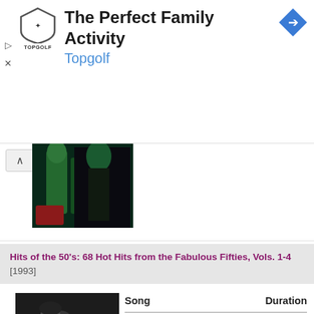[Figure (screenshot): Topgolf advertisement banner: The Perfect Family Activity with Topgolf logo shield and navigation arrow icon]
[Figure (photo): Collapsed video thumbnail showing people in green-lit environment with upward chevron collapse button]
Hits of the 50's: 68 Hot Hits from the Fabulous Fifties, Vols. 1-4 [1993]
[Figure (photo): Black and white photo of a man playing piano, viewed from the side]
| Song | Duration |
| --- | --- |
| Cry |  |
Sentimental Journey, Vol. 3 [1993]